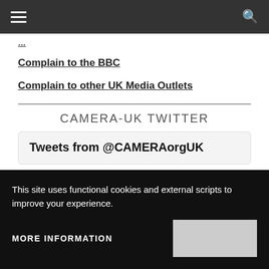Navigation bar with hamburger menu and search icon
Complain to the BBC
Complain to other UK Media Outlets
CAMERA-UK TWITTER
Tweets from @CAMERAorgUK
This site uses functional cookies and external scripts to improve your experience.
MORE INFORMATION
@nytimes freelancers